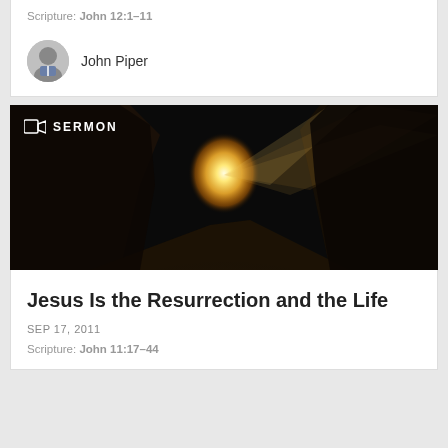Scripture: John 12:1–11
John Piper
[Figure (photo): Dark cave or tomb entrance with bright golden light shining through, rays of light visible against dark background. White video camera icon and text 'SERMON' overlaid in upper left.]
Jesus Is the Resurrection and the Life
SEP 17, 2011
Scripture: John 11:17–44